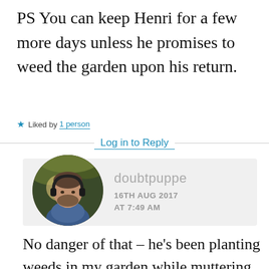PS You can keep Henri for a few more days unless he promises to weed the garden upon his return.
★ Liked by 1 person
Log in to Reply
[Figure (photo): Circular avatar photo of a bearded man wearing headphones, outdoors with autumn foliage background. Username: doubtpuppe, date: 16TH AUG 2017 AT 7:49 AM]
No danger of that – he's been planting weeds in my garden while muttering French curse words. I don't